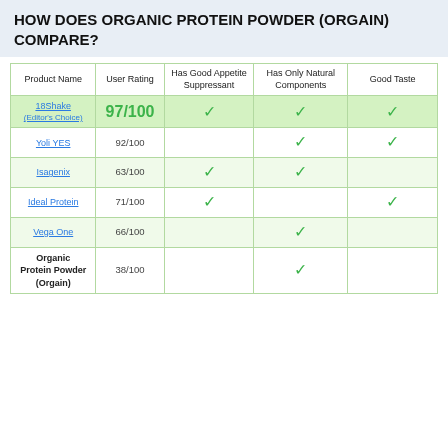HOW DOES ORGANIC PROTEIN POWDER (ORGAIN) COMPARE?
| Product Name | User Rating | Has Good Appetite Suppressant | Has Only Natural Components | Good Taste |
| --- | --- | --- | --- | --- |
| 18Shake Editor's Choice | 97/100 | ✓ | ✓ | ✓ |
| Yoli YES | 92/100 |  | ✓ | ✓ |
| Isagenix | 63/100 | ✓ | ✓ |  |
| Ideal Protein | 71/100 | ✓ |  | ✓ |
| Vega One | 66/100 |  | ✓ |  |
| Organic Protein Powder (Orgain) | 38/100 |  | ✓ |  |